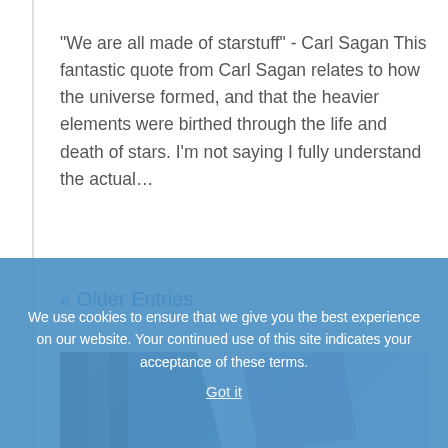“We are all made of starstuff” - Carl Sagan This fantastic quote from Carl Sagan relates to how the universe formed, and that the heavier elements were birthed through the life and death of stars. I’m not saying I fully understand the actual…
« Older Entries
[Figure (photo): A blurred/out-of-focus image of books or study materials, with white and purple book shapes visible, on a light blue-grey background.]
We use cookies to ensure that we give you the best experience on our website. Your continued use of this site indicates your acceptance of these terms.
Got it